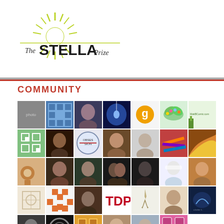[Figure (logo): The Stella Prize logo with sunburst graphic above the text]
COMMUNITY
[Figure (infographic): Grid of community member avatar images/profile photos arranged in rows]